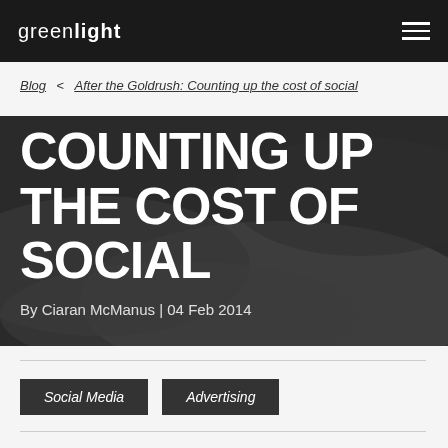greenlight
Blog < After the Goldrush: Counting up the cost of social
COUNTING UP THE COST OF SOCIAL
By Ciaran McManus | 04 Feb 2014
Social Media
Advertising